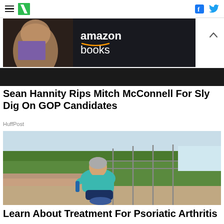HuffPost navigation with hamburger menu, logo, Facebook and Twitter icons
[Figure (photo): Amazon Books advertisement banner showing a person holding a book with 'amazon books' text]
Sean Hannity Rips Mitch McConnell For Sly Dig On GOP Candidates
HuffPost
[Figure (photo): Older woman in blue athletic wear sitting on outdoor steps holding her ankle, with green trees and a railing in the background]
Learn About Treatment For Psoriatic Arthritis